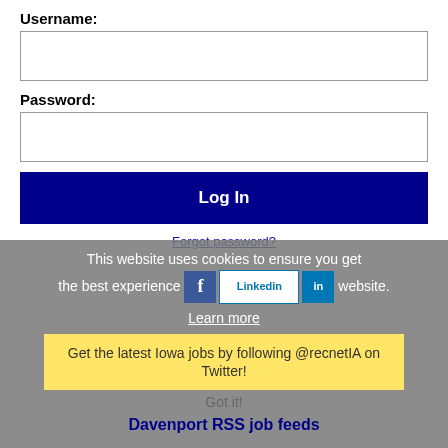Username:
[Figure (screenshot): Empty username text input field]
Password:
[Figure (screenshot): Empty password text input field]
Log In
Forgot password?
This website uses cookies to ensure you get the best experience on our website.
Learn more
Get the latest Iowa jobs by following @recnetIA on Twitter!
Got it!
Davenport RSS job feeds